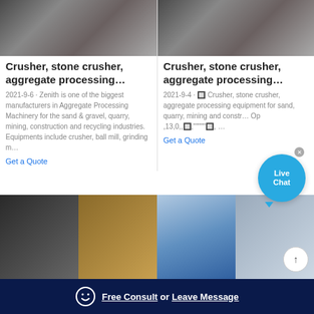[Figure (photo): Industrial machinery/crusher facility photo - left card top]
Crusher, stone crusher, aggregate processing…
2021-9-6 · Zenith is one of the biggest manufacturers in Aggregate Processing Machinery for the sand & gravel, quarry, mining, construction and recycling industries. Equipments include crusher, ball mill, grinding m…
Get a Quote
[Figure (photo): Industrial machinery/crusher facility photo - right card top]
Crusher, stone crusher, aggregate processing…
2021-9-4 · 🔲 Crusher, stone crusher, aggregate processing equipment for sand, quarry, mining and constr… Op ,13,0,,🔲,""""🔲, …
Get a Quote
[Figure (photo): Four bottom thumbnail photos of mining/industrial equipment and facilities]
Free Consult  or  Leave Message